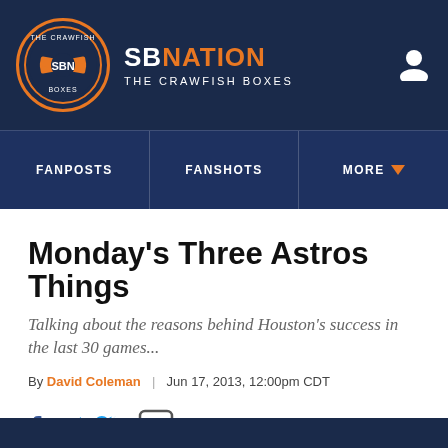SB NATION | THE CRAWFISH BOXES
Monday's Three Astros Things
Talking about the reasons behind Houston's success in the last 30 games...
By David Coleman | Jun 17, 2013, 12:00pm CDT